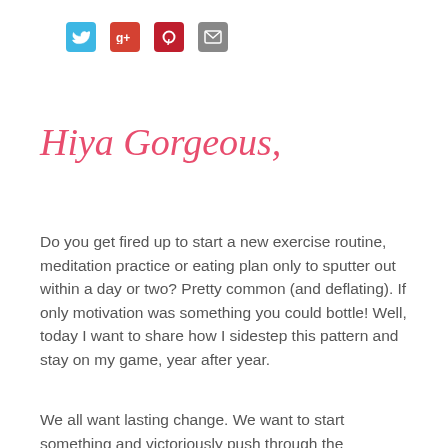[Figure (infographic): Four social media sharing icon buttons: Twitter (blue), Google+ (red), Pinterest (dark red), Email (gray)]
Hiya Gorgeous,
Do you get fired up to start a new exercise routine, meditation practice or eating plan only to sputter out within a day or two? Pretty common (and deflating). If only motivation was something you could bottle! Well, today I want to share how I sidestep this pattern and stay on my game, year after year.
We all want lasting change. We want to start something and victoriously push through the